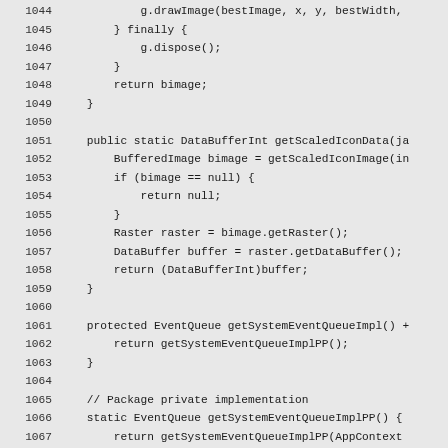Source code listing lines 1044-1074, Java code
1044    g.drawImage(bestImage, x, y, bestWidth,
1045    } finally {
1046        g.dispose();
1047    }
1048    return bimage;
1049    }
1050
1051    public static DataBufferInt getScaledIconData(ja
1052        BufferedImage bimage = getScaledIconImage(in
1053        if (bimage == null) {
1054            return null;
1055        }
1056        Raster raster = bimage.getRaster();
1057        DataBuffer buffer = raster.getDataBuffer();
1058        return (DataBufferInt)buffer;
1059    }
1060
1061    protected EventQueue getSystemEventQueueImpl() +
1062        return getSystemEventQueueImplPP();
1063    }
1064
1065    // Package private implementation
1066    static EventQueue getSystemEventQueueImplPP() {
1067        return getSystemEventQueueImplPP(AppContext
1068    }
1069
1070    public static EventQueue getSystemEventQueueImpl
1071        EventQueue theEventQueue =
1072            (EventQueue)appContext.get(AppContext.EV
1073        // Sometimes EventQueue stored in AppContext
1074        // static fields of an applet after refresh